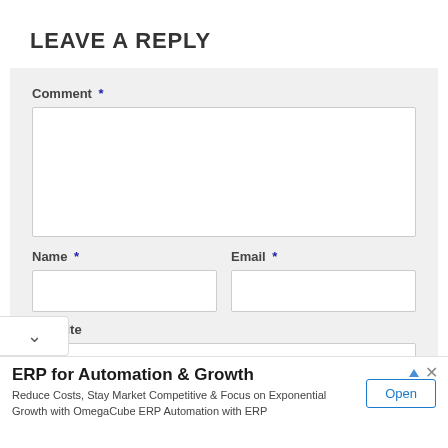LEAVE A REPLY
Comment *
Name *
Email *
Website
[Figure (screenshot): Web form scroll indicator with chevron/down arrow]
ERP for Automation & Growth
Reduce Costs, Stay Market Competitive & Focus on Exponential Growth with OmegaCube ERP Automation with ERP
Open